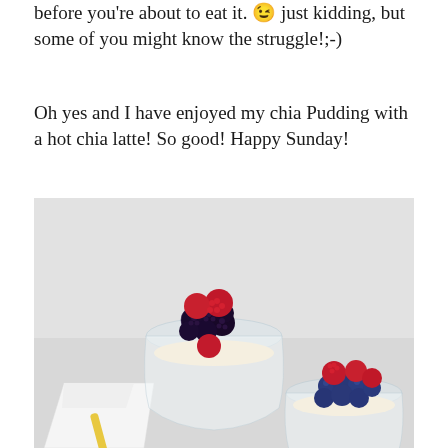before you're about to eat it. 😉 just kidding, but some of you might know the struggle!;-)
Oh yes and I have enjoyed my chia Pudding with a hot chia latte! So good! Happy Sunday!
[Figure (photo): Overhead view of two glass dessert cups filled with chia pudding topped with fresh berries — blackberries and raspberries in one cup, blueberries and raspberries in another. A white napkin and yellow spoon are visible in the lower left.]